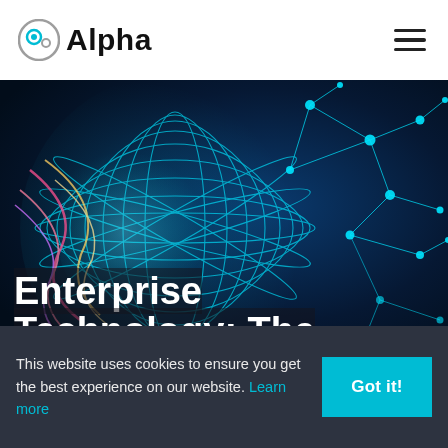Alpha
[Figure (illustration): Hero image of a glowing digital globe with teal and multicolor light trails against a dark blue background with network nodes and connections]
Enterprise Technology: The
This website uses cookies to ensure you get the best experience on our website. Learn more
Got it!